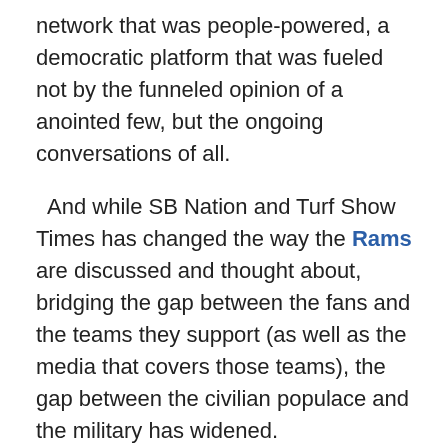network that was people-powered, a democratic platform that was fueled not by the funneled opinion of a anointed few, but the ongoing conversations of all.
And while SB Nation and Turf Show Times has changed the way the Rams are discussed and thought about, bridging the gap between the fans and the teams they support (as well as the media that covers those teams), the gap between the civilian populace and the military has widened.
In Van's piece on the NFL and their Veterans Day efforts, he noted that less than one percent of today's U.S. population actually serves in the military. That number will drop in the years ahead as WWII and Vietnam vets pass, and the military continues to cut numbers.